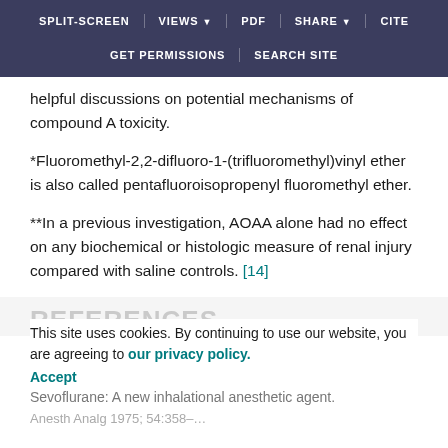SPLIT-SCREEN  VIEWS  PDF  SHARE  CITE  GET PERMISSIONS  SEARCH SITE
helpful discussions on potential mechanisms of compound A toxicity.
*Fluoromethyl-2,2-difluoro-1-(trifluoromethyl)vinyl ether is also called pentafluoroisopropenyl fluoromethyl ether.
**In a previous investigation, AOAA alone had no effect on any biochemical or histologic measure of renal injury compared with saline controls. [14]
REFERENCES
This site uses cookies. By continuing to use our website, you are agreeing to our privacy policy. Accept
Sevoflurane: A new inhalational anesthetic agent.